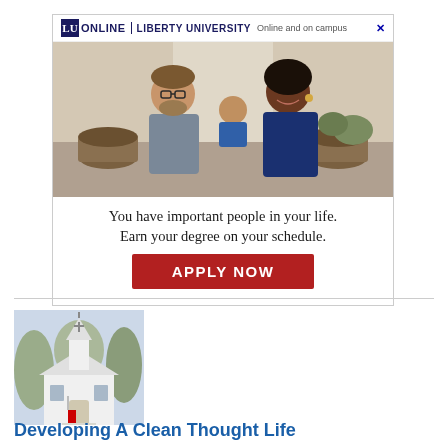[Figure (photo): Liberty University Online advertisement featuring a family (man, woman, and baby) sitting together. Header shows LU Online Liberty University logo with tagline 'Online and on campus'. Text reads 'You have important people in your life. Earn your degree on your schedule.' with a red APPLY NOW button.]
[Figure (photo): Thumbnail image of a white church building with a steeple, surrounded by trees.]
Developing A Clean Thought Life